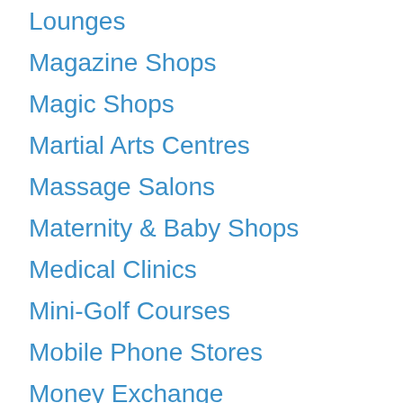Lounges
Magazine Shops
Magic Shops
Martial Arts Centres
Massage Salons
Maternity & Baby Shops
Medical Clinics
Mini-Golf Courses
Mobile Phone Stores
Money Exchange
Money Transfer
Motorcycle Dealerships
Music Schools
Music Stores
Musical Instrument Stores